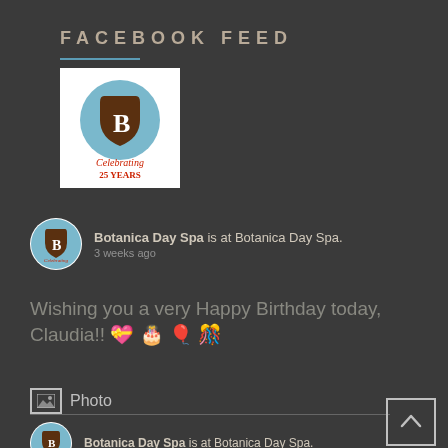FACEBOOK FEED
[Figure (logo): Botanica Day Spa logo — circular blue badge with 'B' monogram and 'Celebrating 25 Years' text on white background]
Botanica Day Spa is at Botanica Day Spa.
3 weeks ago
Wishing you a very Happy Birthday today, Claudia!! 💝🎂🎈🎉
📷 Photo
Botanica Day Spa is at Botanica Day Spa.